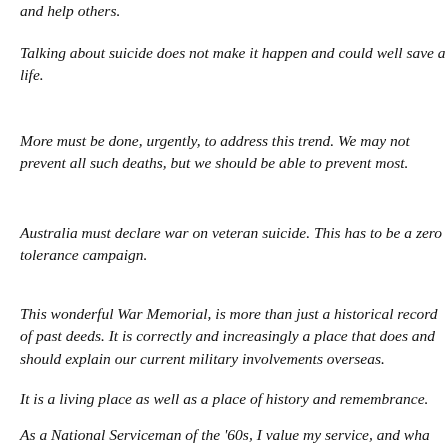and help others.
Talking about suicide does not make it happen and could well save a life.
More must be done, urgently, to address this trend. We may not prevent all such deaths, but we should be able to prevent most.
Australia must declare war on veteran suicide. This has to be a zero tolerance campaign.
This wonderful War Memorial, is more than just a historical record of past deeds. It is correctly and increasingly a place that does and should explain our current military involvements overseas.
It is a living place as well as a place of history and remembrance.
As a National Serviceman of the '60s, I value my service, and wha